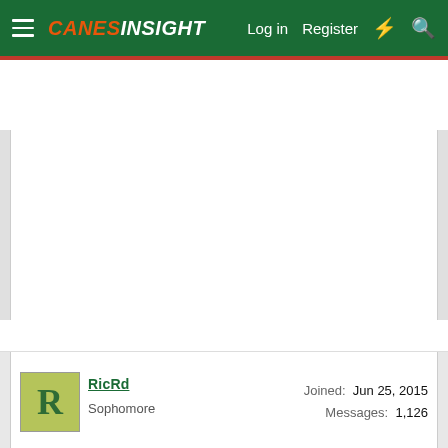[Figure (screenshot): CanesInsight forum website navigation bar with hamburger menu, logo, Log in, Register, and icon buttons on dark green background]
RicRd
Sophomore
Joined: Jun 25, 2015
Messages: 1,126